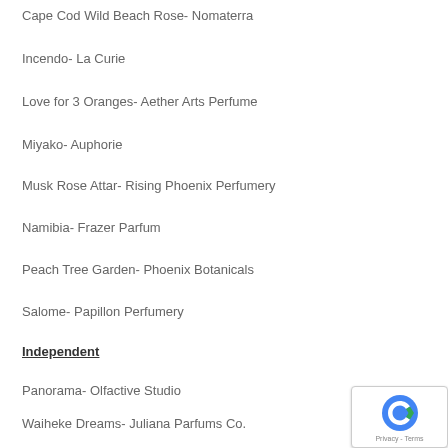Cape Cod Wild Beach Rose- Nomaterra
Incendo- La Curie
Love for 3 Oranges- Aether Arts Perfume
Miyako- Auphorie
Musk Rose Attar- Rising Phoenix Perfumery
Namibia- Frazer Parfum
Peach Tree Garden- Phoenix Botanicals
Salome- Papillon Perfumery
Independent
Panorama- Olfactive Studio
Waiheke Dreams- Juliana Parfums Co.
Fougere Nobile- Nobile 1942